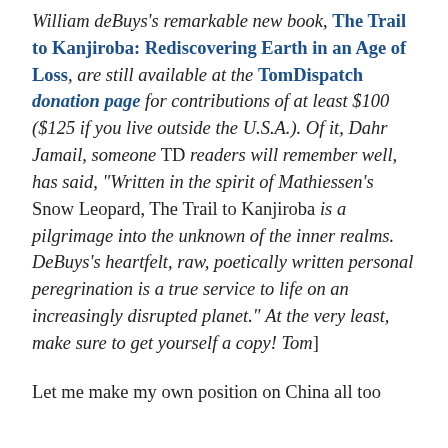William deBuys's remarkable new book, The Trail to Kanjiroba: Rediscovering Earth in an Age of Loss, are still available at the TomDispatch donation page for contributions of at least $100 ($125 if you live outside the U.S.A.). Of it, Dahr Jamail, someone TD readers will remember well, has said, "Written in the spirit of Mathiessen's Snow Leopard, The Trail to Kanjiroba is a pilgrimage into the unknown of the inner realms. DeBuys's heartfelt, raw, poetically written personal peregrination is a true service to life on an increasingly disrupted planet." At the very least, make sure to get yourself a copy! Tom]
Let me make my own position on China all too